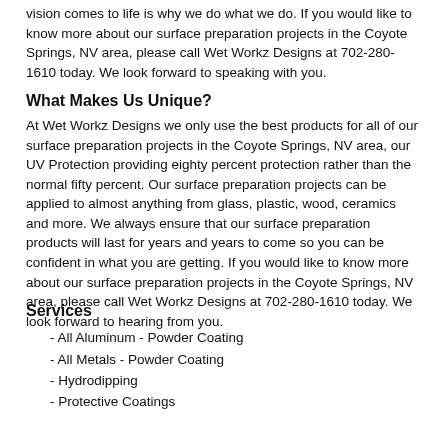vision comes to life is why we do what we do. If you would like to know more about our surface preparation projects in the Coyote Springs, NV area, please call Wet Workz Designs at 702-280-1610 today. We look forward to speaking with you.
What Makes Us Unique?
At Wet Workz Designs we only use the best products for all of our surface preparation projects in the Coyote Springs, NV area, our UV Protection providing eighty percent protection rather than the normal fifty percent. Our surface preparation projects can be applied to almost anything from glass, plastic, wood, ceramics and more. We always ensure that our surface preparation products will last for years and years to come so you can be confident in what you are getting. If you would like to know more about our surface preparation projects in the Coyote Springs, NV area, please call Wet Workz Designs at 702-280-1610 today. We look forward to hearing from you.
Services
- All Aluminum - Powder Coating
- All Metals - Powder Coating
- Hydrodipping
- Protective Coatings